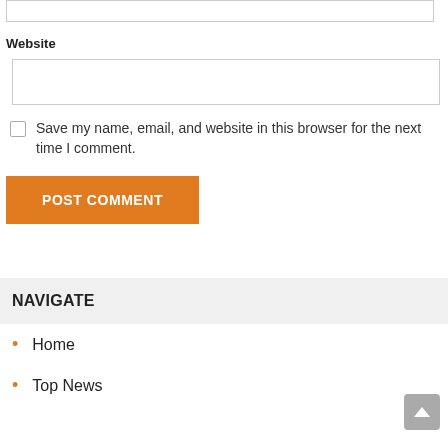Website
Save my name, email, and website in this browser for the next time I comment.
POST COMMENT
NAVIGATE
Home
Top News